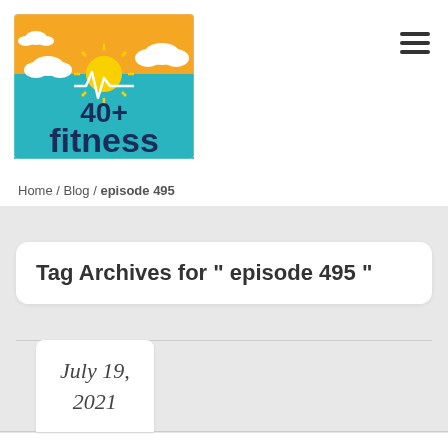[Figure (logo): 40+ Fitness podcast logo with orange sky, sun, clouds, teal background, and bold text '40+ fitness']
Home / Blog / episode 495
Tag Archives for " episode 495 "
July 19, 2021